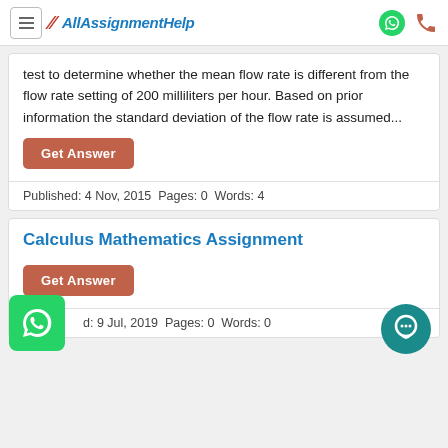AllAssignmentHelp
test to determine whether the mean flow rate is different from the flow rate setting of 200 milliliters per hour. Based on prior information the standard deviation of the flow rate is assumed...
Get Answer
Published: 4 Nov, 2015 Pages: 0 Words: 4
Calculus Mathematics Assignment
Get Answer
Published: 9 Jul, 2019 Pages: 0 Words: 0